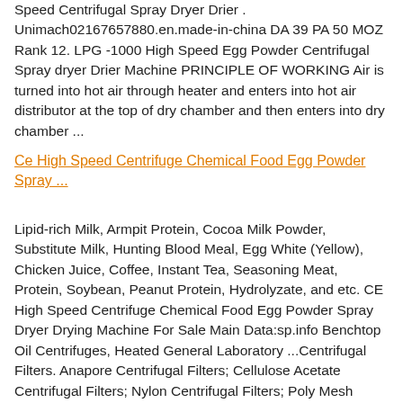Speed Centrifugal Spray Dryer Drier . Unimach02167657880.en.made-in-china DA 39 PA 50 MOZ Rank 12. LPG -1000 High Speed Egg Powder Centrifugal Spray dryer Drier Machine PRINCIPLE OF WORKING Air is turned into hot air through heater and enters into hot air distributor at the top of dry chamber and then enters into dry chamber ...
Ce High Speed Centrifuge Chemical Food Egg Powder Spray ...
Lipid-rich Milk, Armpit Protein, Cocoa Milk Powder, Substitute Milk, Hunting Blood Meal, Egg White (Yellow), Chicken Juice, Coffee, Instant Tea, Seasoning Meat, Protein, Soybean, Peanut Protein, Hydrolyzate, and etc. CE High Speed Centrifuge Chemical Food Egg Powder Spray Dryer Drying Machine For Sale Main Data:sp.info Benchtop Oil Centrifuges, Heated General Laboratory ...Centrifugal Filters. Anapore Centrifugal Filters; Cellulose Acetate Centrifugal Filters; Nylon Centrifugal Filters; Poly Mesh Centrifugal Filters; Polypropylene Centrifugal Filters; PSF